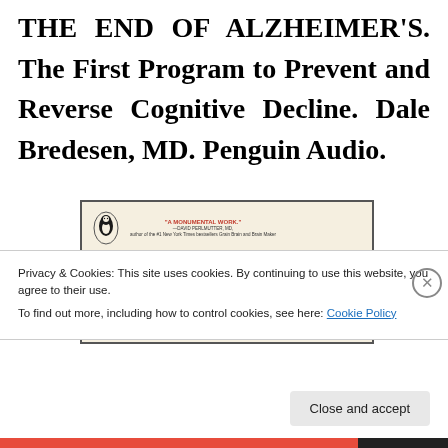THE END OF ALZHEIMER'S. The First Program to Prevent and Reverse Cognitive Decline. Dale Bredesen, MD. Penguin Audio.
[Figure (illustration): Book cover for 'The End of Alzheimer's' by Dale Bredesen, published by Penguin Audio, showing the title in red italic script on a cream/beige background with endorsement quote from David Perlmutter, MD.]
Privacy & Cookies: This site uses cookies. By continuing to use this website, you agree to their use.
To find out more, including how to control cookies, see here: Cookie Policy
Close and accept